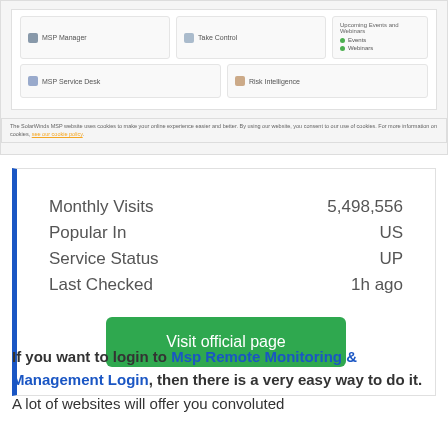[Figure (screenshot): Screenshot of MSP Remote Monitoring & Management website interface showing tiles: MSP Manager, Take Control, MSP Service Desk, Risk Intelligence, and a sidebar with Upcoming Events and Webinars (Events, Webinars). Below is a cookie consent bar.]
|  |  |
| --- | --- |
| Monthly Visits | 5,498,556 |
| Popular In | US |
| Service Status | UP |
| Last Checked | 1h ago |
Visit official page
If you want to login to Msp Remote Monitoring & Management Login, then there is a very easy way to do it. A lot of websites will offer you convoluted